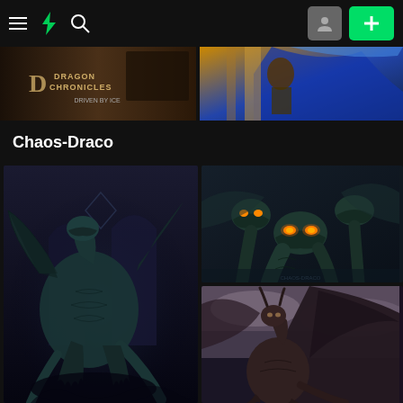DeviantArt navigation bar with hamburger menu, DA logo, search icon, profile button, and add button
[Figure (screenshot): Top banner image left: Dragon Chronicles game banner with text 'DRAGON CHRONICLES' and 'DRIVEN BY ICE']
[Figure (screenshot): Top banner image right: Fantasy illustration of a warrior/mage with blue dramatic wings or cloak]
Chaos-Draco
[Figure (illustration): Large tall dragon illustration: dark teal/black dragon with large wings in a dramatic indoor/architectural setting, seen from side]
[Figure (illustration): Top right gallery image: Three-headed dragon (hydra) with orange glowing eyes, dark grey-green scales, dramatic lighting]
[Figure (illustration): Bottom right gallery image: Brown/dark dragon with large wings in a misty purple sky environment, fantasy art style]